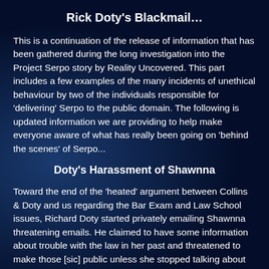Rick Doty's Blackmail…
This is a continuation of the release of information that has been gathered during the long investigation into the Project Serpo story by Reality Uncovered. This part includes a few examples of the many incidents of unethical behaviour by two of the individuals responsible for 'delivering' Serpo to the public domain. The following is updated information we are providing to help make everyone aware of what has really been going on 'behind the scenes' of Serpo...
Doty's Harassment of Shawnna
Toward the end of the 'heated' argument between Collins & Doty and us regarding the Bar Exam and Law School issues, Richard Doty started privately emailing Shawnna threatening emails. He claimed to have some information about trouble with the law in her past and threatened to make those [sic] public unless she stopped talking about him. He was threatening to use a fabricated criminal past